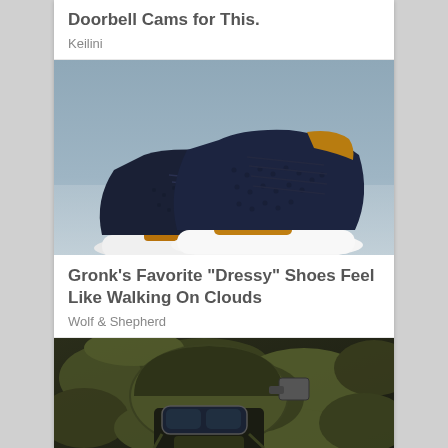Doorbell Cams for This.
Keilini
[Figure (photo): A pair of dark navy/black knit casual shoes with white soles and tan/brown leather accents, placed on a light blue-grey sandy surface with a soft blue-grey background.]
Gronk's Favorite "Dressy" Shoes Feel Like Walking On Clouds
Wolf & Shepherd
[Figure (photo): A soldier wearing camouflage tactical gear and a military helmet with attachments, partial view focusing on the head and upper torso area, dark background.]